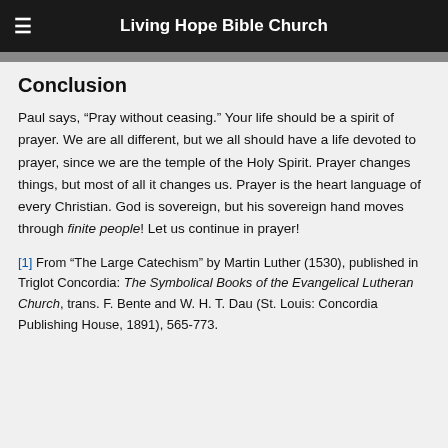Living Hope Bible Church
Conclusion
Paul says, “Pray without ceasing.” Your life should be a spirit of prayer. We are all different, but we all should have a life devoted to prayer, since we are the temple of the Holy Spirit. Prayer changes things, but most of all it changes us. Prayer is the heart language of every Christian. God is sovereign, but his sovereign hand moves through finite people! Let us continue in prayer!
[1] From “The Large Catechism” by Martin Luther (1530), published in Triglot Concordia: The Symbolical Books of the Evangelical Lutheran Church, trans. F. Bente and W. H. T. Dau (St. Louis: Concordia Publishing House, 1891), 565-773.